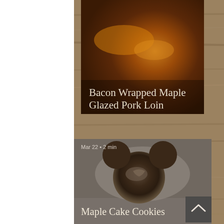[Figure (photo): Food blog screenshot showing two recipe cards on a wood-grain background. Top card: Bacon Wrapped Maple Glazed Pork Loin photo with title text. Bottom card: Maple Cake Cookies with a Mickey Mouse shaped chocolate frosted cookie, date Mar 22 · 2 min, and a scroll-up button.]
Bacon Wrapped Maple Glazed Pork Loin
Mar 22  •  2 min
Maple Cake Cookies